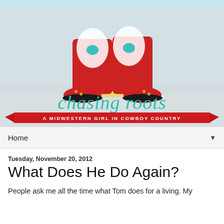[Figure (illustration): Blog header banner showing red cowboy boots with turquoise Texas decorations and white paisley designs, standing on a city street with blurred background. Below the boots is the blog title 'chasing roots' in teal cursive script, with a red ribbon banner underneath reading 'A MIDWESTERN GIRL IN COWBOY COUNTRY' in white text.]
Home
Tuesday, November 20, 2012
What Does He Do Again?
People ask me all the time what Tom does for a living. My